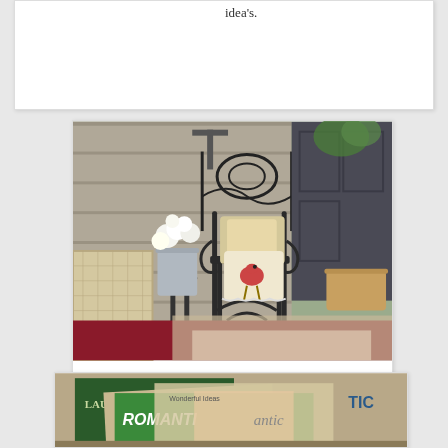idea's.
[Figure (photo): Iron bench/chair with decorative scrollwork, floral rooster-print pillows, white flower arrangement in metal bucket, wicker furniture, layered rugs on floor, rustic wooden backdrop with vintage signage]
Sometimes I sit here and read....
[Figure (photo): Stack of magazines including Laura Ashley, Romantic Country, and other gardening/country living magazines]